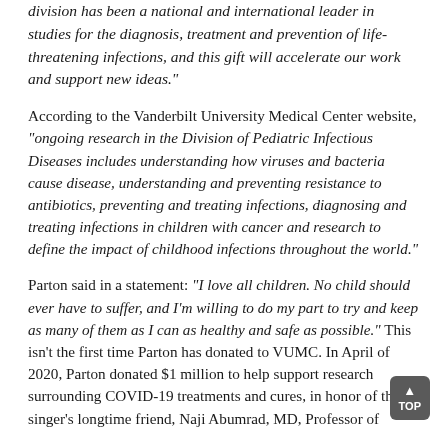division has been a national and international leader in studies for the diagnosis, treatment and prevention of life-threatening infections, and this gift will accelerate our work and support new ideas."
According to the Vanderbilt University Medical Center website, "ongoing research in the Division of Pediatric Infectious Diseases includes understanding how viruses and bacteria cause disease, understanding and preventing resistance to antibiotics, preventing and treating infections, diagnosing and treating infections in children with cancer and research to define the impact of childhood infections throughout the world."
Parton said in a statement: "I love all children. No child should ever have to suffer, and I'm willing to do my part to try and keep as many of them as I can as healthy and safe as possible." This isn't the first time Parton has donated to VUMC. In April of 2020, Parton donated $1 million to help support research surrounding COVID-19 treatments and cures, in honor of the singer's longtime friend, Naji Abumrad, MD, Professor of